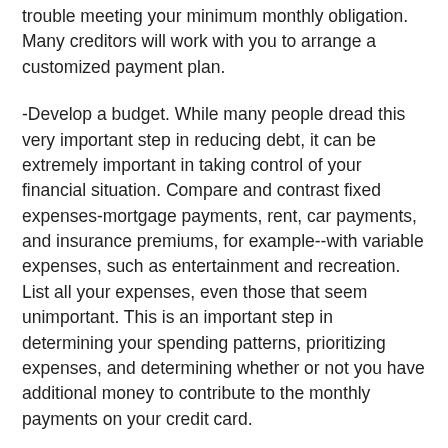trouble meeting your minimum monthly obligation. Many creditors will work with you to arrange a customized payment plan.
-Develop a budget. While many people dread this very important step in reducing debt, it can be extremely important in taking control of your financial situation. Compare and contrast fixed expenses-mortgage payments, rent, car payments, and insurance premiums, for example--with variable expenses, such as entertainment and recreation. List all your expenses, even those that seem unimportant. This is an important step in determining your spending patterns, prioritizing expenses, and determining whether or not you have additional money to contribute to the monthly payments on your credit card.
-Consolidate, consolidate, consolidate. While debt consolidation is a sometimes daunting and drastic step, it can be an important move in the quest to reduce your credit card debt. If you're a homeowner, consider a second mortgage or a home equity loan to pay off high-interest rate debt. While these loans often require